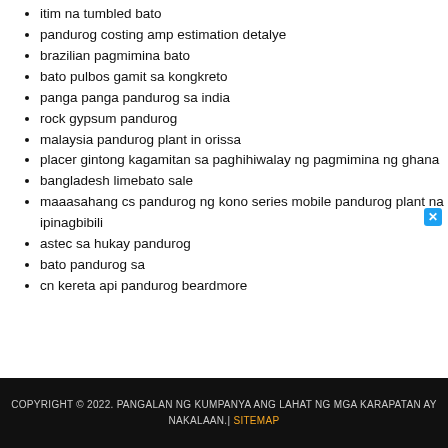itim na tumbled bato
pandurog costing amp estimation detalye
brazilian pagmimina bato
bato pulbos gamit sa kongkreto
panga panga pandurog sa india
rock gypsum pandurog
malaysia pandurog plant in orissa
placer gintong kagamitan sa paghihiwalay ng pagmimina ng ghana
bangladesh limebato sale
maaasahang cs pandurog ng kono series mobile pandurog plant na ipinagbibili
astec sa hukay pandurog
bato pandurog sa
cn kereta api pandurog beardmore
COPYRIGHT © 2022. PANGALAN NG KUMPANYA ANG LAHAT NG MGA KARAPATAN AY NAKALAAN.| SITEMAP